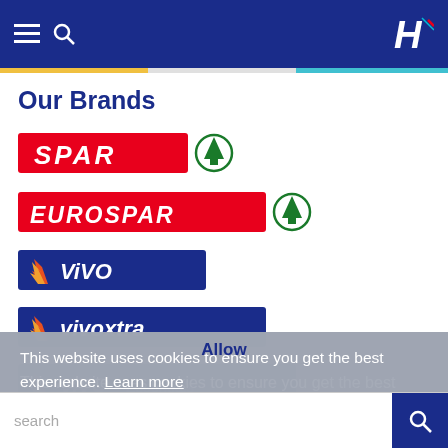Navigation bar with hamburger menu, search icon, and H logo
Our Brands
[Figure (logo): SPAR logo — red rectangle with white italic SPAR text and green tree-in-circle icon]
[Figure (logo): EUROSPAR logo — red rectangle with white italic EUROSPAR text and green tree-in-circle icon]
[Figure (logo): ViVO logo — dark blue rectangle with orange/red flame icon and white italic ViVO text]
[Figure (logo): Vivoxtra logo — dark blue rectangle with orange/red flame icon and white italic Vivoxtra text]
[Figure (logo): ViVO Essentials logo — dark blue rectangle with flame icon and white italic ViVO Essentials text]
This website uses cookies to ensure you get the best experience. Learn more
Allow
search